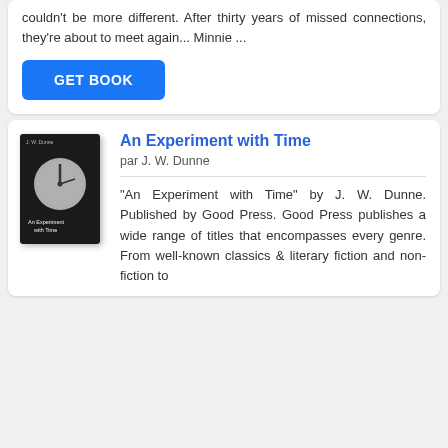couldn't be more different. After thirty years of missed connections, they're about to meet again... Minnie ...
GET BOOK
[Figure (illustration): Book cover of 'An Experiment with Time' by J.W. Dunne — dark background with a clock face image and title text at bottom]
An Experiment with Time
par J. W. Dunne
"An Experiment with Time" by J. W. Dunne. Published by Good Press. Good Press publishes a wide range of titles that encompasses every genre. From well-known classics & literary fiction and non-fiction to